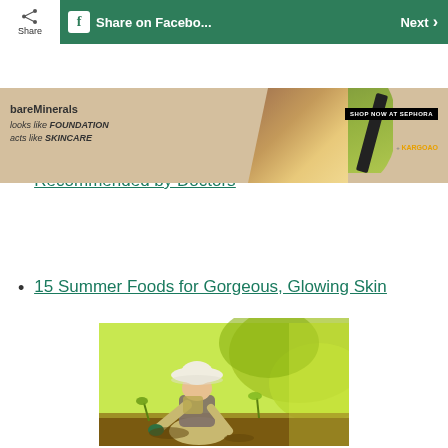Share on Facebook | Next
[Figure (photo): bareMinerals advertisement banner showing foundation product with Sephora CTA]
The 5 Best Hormone-Safe Sunscreens, Recommended by Doctors
15 Summer Foods for Gorgeous, Glowing Skin
[Figure (photo): Person in white hat and overalls gardening outdoors, crouching over soil with green plants and bright sunlight in background]